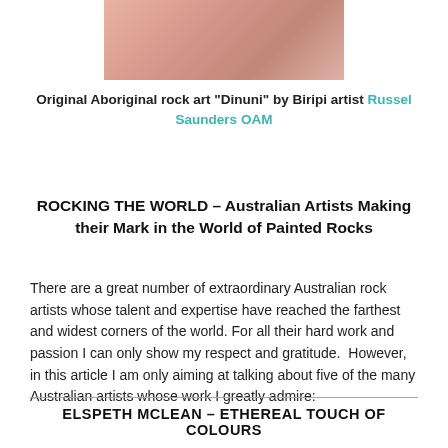[Figure (photo): Partial photograph of hands holding a painted rock with Aboriginal art, cropped at top of page]
Original Aboriginal rock art "Dinuni" by Biripi artist Russel Saunders OAM
ROCKING THE WORLD – Australian Artists Making their Mark in the World of Painted Rocks
There are a great number of extraordinary Australian rock artists whose talent and expertise have reached the farthest and widest corners of the world. For all their hard work and passion I can only show my respect and gratitude.  However, in this article I am only aiming at talking about five of the many Australian artists whose work I greatly admire:
ELSPETH MCLEAN – ETHEREAL TOUCH OF COLOURS